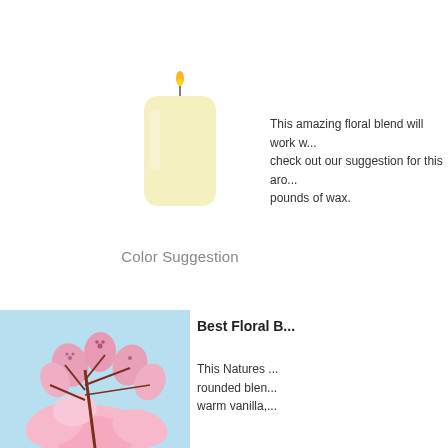[Figure (illustration): A pale yellow pillar candle with a lit flame on top]
Color Suggestion
This amazing floral blend will work w... check out our suggestion for this aro... pounds of wax.
[Figure (photo): Close-up of pink cherry blossom flowers against a light blue sky]
Best Floral B...
This Natures ... rounded blen... warm vanilla,...